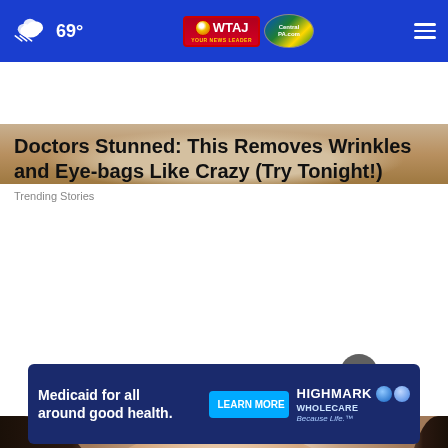69° WTAJ CentralPA.com
[Figure (photo): Close-up partial view of an elderly person's eye and cheek area with wrinkled skin]
Doctors Stunned: This Removes Wrinkles and Eye-bags Like Crazy (Try Tonight!)
Trending Stories
[Figure (photo): Young Asian woman applying white cream/mask to her nose with a brush, looking upward]
Medicaid for all around good health. LEARN MORE HIGHMARK WHOLECARE Because Life.